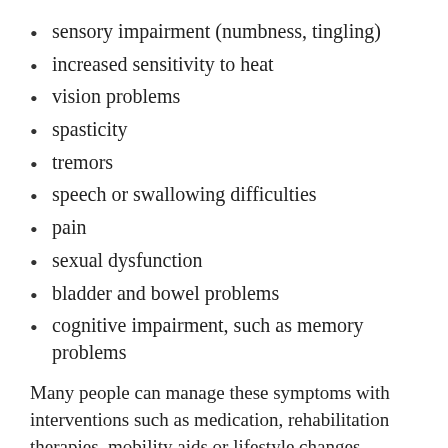sensory impairment (numbness, tingling)
increased sensitivity to heat
vision problems
spasticity
tremors
speech or swallowing difficulties
pain
sexual dysfunction
bladder and bowel problems
cognitive impairment, such as memory problems
Many people can manage these symptoms with interventions such as medication, rehabilitation therapies, mobility aids or lifestyle changes.
How is MS diagnosed?
MS is not diagnosed with just one test. Physicians consider a patient's medical history and perform a neurological exam and perhaps other tests, such as